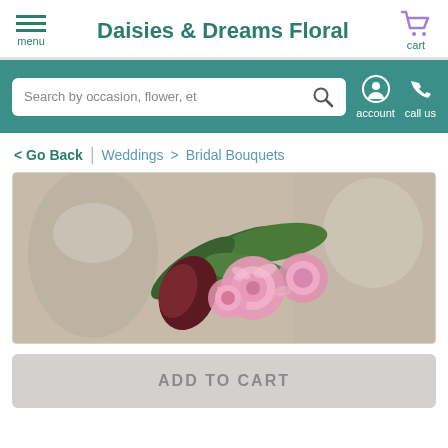Daisies & Dreams Floral
Search by occasion, flower, et
account  call us
< Go Back | Weddings > Bridal Bouquets
[Figure (photo): Close-up photo of pink roses with dark red calla lily and green leaves, with blurred silver vase in background]
ADD TO CART